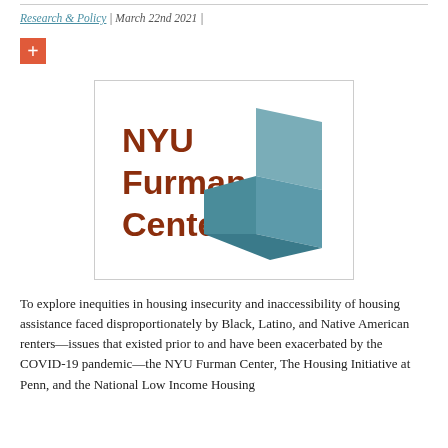Research & Policy | March 22nd 2021 |
[Figure (logo): NYU Furman Center logo — brown bold text 'NYU Furman Center' on left, teal/slate geometric cube shape on right, white background with border]
To explore inequities in housing insecurity and inaccessibility of housing assistance faced disproportionately by Black, Latino, and Native American renters—issues that existed prior to and have been exacerbated by the COVID-19 pandemic—the NYU Furman Center, The Housing Initiative at Penn, and the National Low Income Housing